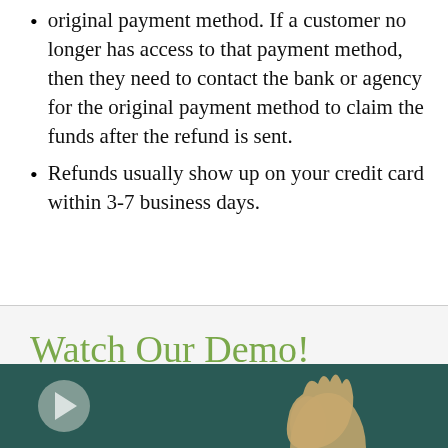original payment method. If a customer no longer has access to that payment method, then they need to contact the bank or agency for the original payment method to claim the funds after the refund is sent.
Refunds usually show up on your credit card within 3-7 business days.
Watch Our Demo!
[Figure (photo): Video thumbnail with dark teal background showing a play button circle on the left and a hand gesture on the right]